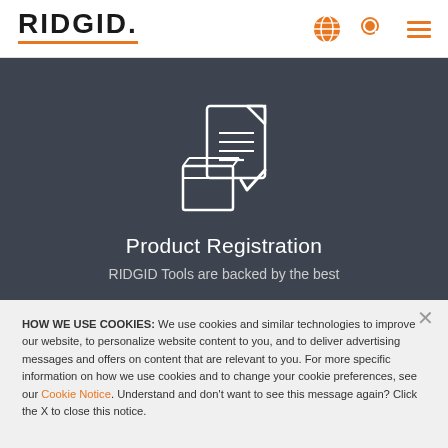RIDGID
[Figure (illustration): Product registration icon: a document/clipboard with lines and a box with a checkmark, white outline on dark background]
Product Registration
RIDGID Tools are backed by the best
HOW WE USE COOKIES: We use cookies and similar technologies to improve our website, to personalize website content to you, and to deliver advertising messages and offers on content that are relevant to you. For more specific information on how we use cookies and to change your cookie preferences, see our Cookie Notice. Understand and don't want to see this message again? Click the X to close this notice.